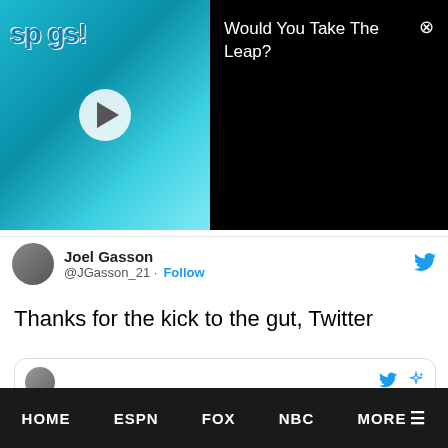[Figure (screenshot): Ad banner showing a splash/swim video thumbnail on the left with a play button, and text 'Would You Take The Leap?' on a black background on the right with a close button]
@JGasson_21 · Follow
Thanks for the kick to the gut, Twitter
[Figure (screenshot): Embedded Twitter card showing a football player wearing jersey number 14 in red uniform, with a 'Show more' button and 'Warriors at Wildcats' label]
HOME   ESPN   FOX   NBC   MORE